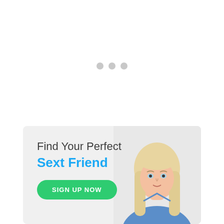[Figure (other): Three grey loading dots centered horizontally near the top half of the page]
[Figure (infographic): Advertisement banner with light grey background. Left side has text 'Find Your Perfect' in dark grey and 'Sext Friend' in blue, with a green 'SIGN UP NOW' button. Right side shows a photo of a blonde woman in a blue top.]